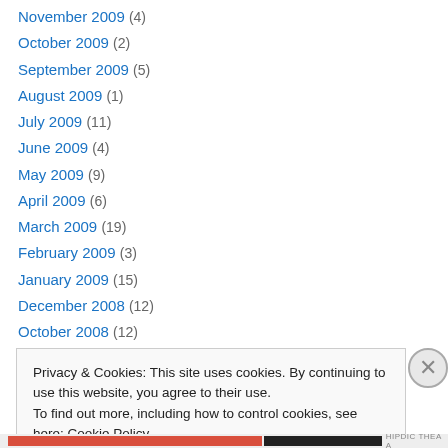November 2009 (4)
October 2009 (2)
September 2009 (5)
August 2009 (1)
July 2009 (11)
June 2009 (4)
May 2009 (9)
April 2009 (6)
March 2009 (19)
February 2009 (3)
January 2009 (15)
December 2008 (12)
October 2008 (12)
Privacy & Cookies: This site uses cookies. By continuing to use this website, you agree to their use. To find out more, including how to control cookies, see here: Cookie Policy
Close and accept